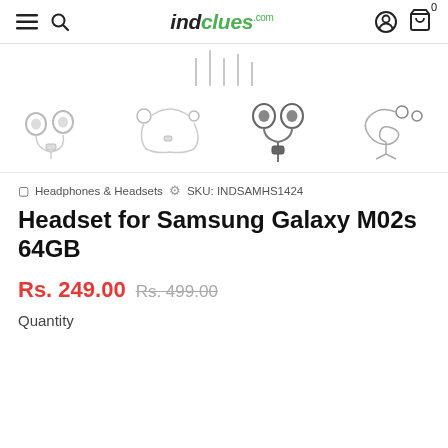indclues.com
[Figure (photo): Four thumbnail images of Samsung headsets/earphones: white earbuds with mic, white neckband earphones, dark gray earphones with inline remote, gray earphones coiled]
Headphones & Headsets   SKU: INDSAMHS1424
Headset for Samsung Galaxy M02s 64GB
Rs. 249.00  Rs. 499.00
Quantity